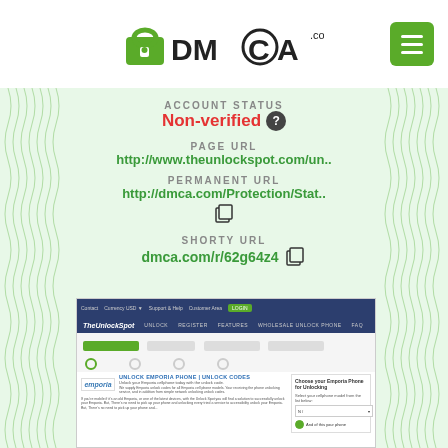[Figure (logo): DMCA.com logo with padlock icon and green menu button]
ACCOUNT STATUS
Non-verified ?
PAGE URL
http://www.theunlockspot.com/un..
PERMANENT URL
http://dmca.com/Protection/Stat..
SHORTY URL
dmca.com/r/62g64z4
[Figure (screenshot): Screenshot of theunlockspot.com page showing unlock emporia phone section]